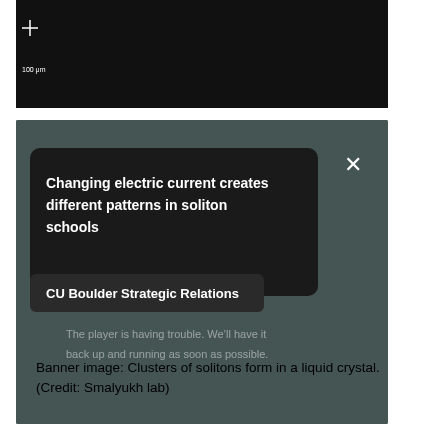[Figure (screenshot): Top portion of a video player screenshot showing a dark/black background with crosshair and '100 um' scale indicator in white]
[Figure (screenshot): Screenshot of a video player overlay showing a notification popup. The popup has a dark rounded rectangle with white bold text reading 'Changing electric current creates different patterns in soliton schools', below it a smaller dark pill with white bold text 'CU Boulder Strategic Relations', and a faint message underneath reading 'The player is having trouble. We\'ll have it back up and running as soon as possible.' There is an X close button in the top-right corner. The overall background is a dark greenish-gray video frame.]
Banner image: Clusters of solitons form in a liquid crystal. (Credit: Smalyukh lab)